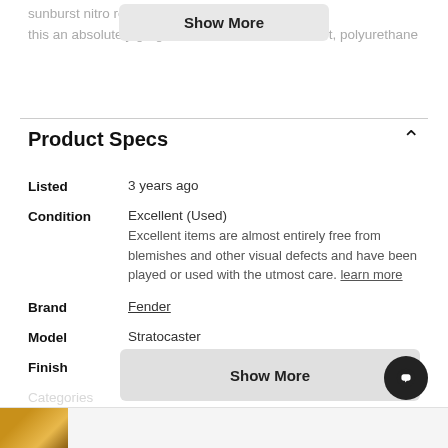sunburst nitro reli... uer finish makes this an absolutely gorgeous one-off custom. No dirt, polyurethane
Show More
Product Specs
| Spec | Value |
| --- | --- |
| Listed | 3 years ago |
| Condition | Excellent (Used)
Excellent items are almost entirely free from blemishes and other visual defects and have been played or used with the utmost care. learn more |
| Brand | Fender |
| Model | Stratocaster |
| Finish | Sunburst |
| Categories | Sol... |
| Year | 2010 |
Show More